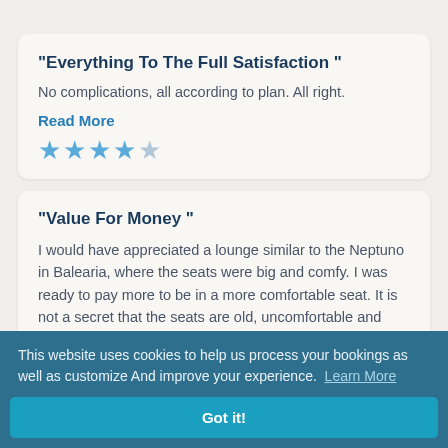"Everything To The Full Satisfaction "
No complications, all according to plan. All right.
Read More
[Figure (other): Star rating: 4 out of 5 stars (4 filled blue stars, 1 empty/gray star)]
"Value For Money "
I would have appreciated a lounge similar to the Neptuno in Balearia, where the seats were big and comfy. I was ready to pay more to be in a more comfortable seat. It is not a secret that the seats are old, uncomfortable and look more like an old
This website uses cookies to help us process your bookings as well as customize And improve your experience.  Learn More
Got it!